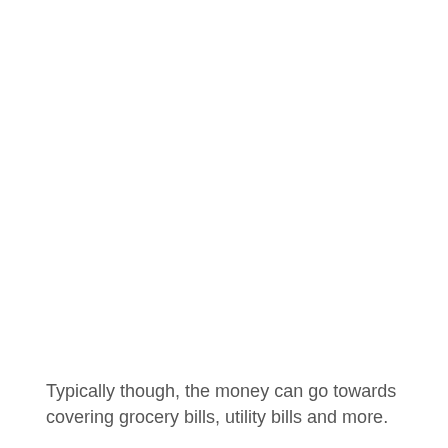Typically though, the money can go towards covering grocery bills, utility bills and more.